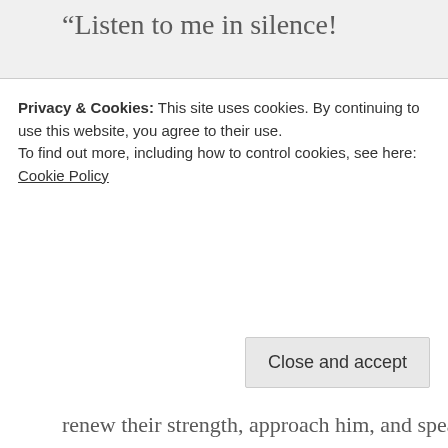“Listen to me in silence!
O coastlands!
Let the people renew their strength!
Let them approach!
Let them speak!
Let us together
Privacy & Cookies: This site uses cookies. By continuing to use this website, you agree to their use. To find out more, including how to control cookies, see here: Cookie Policy
Close and accept
renew their strength, approach him, and speak